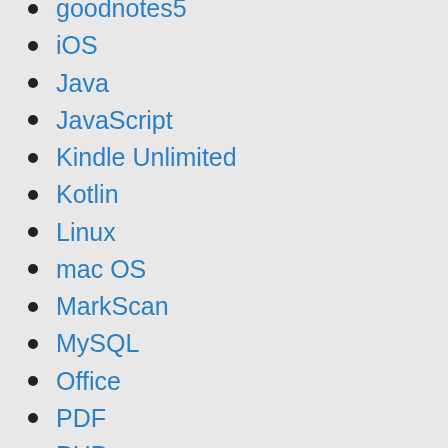goodnotes5
iOS
Java
JavaScript
Kindle Unlimited
Kotlin
Linux
mac OS
MarkScan
MySQL
Office
PDF
PHP
Python
Raspberry pi pico
Slack
SQL